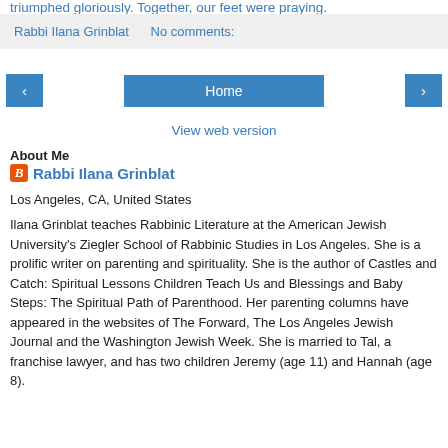triumphed gloriously. Together, our feet were praying.
Rabbi Ilana Grinblat    No comments:
[Figure (screenshot): Navigation row with left arrow button, Home button, and right arrow button]
View web version
About Me
Rabbi Ilana Grinblat
Los Angeles, CA, United States
Ilana Grinblat teaches Rabbinic Literature at the American Jewish University's Ziegler School of Rabbinic Studies in Los Angeles. She is a prolific writer on parenting and spirituality. She is the author of Castles and Catch: Spiritual Lessons Children Teach Us and Blessings and Baby Steps: The Spiritual Path of Parenthood. Her parenting columns have appeared in the websites of The Forward, The Los Angeles Jewish Journal and the Washington Jewish Week. She is married to Tal, a franchise lawyer, and has two children Jeremy (age 11) and Hannah (age 8).